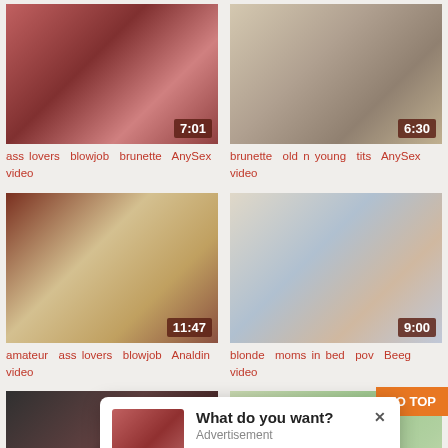[Figure (photo): Video thumbnail top-left with duration 7:01]
ass lovers  blowjob  brunette  AnySex video
[Figure (photo): Video thumbnail top-right with duration 6:30]
brunette  old n young  tits  AnySex video
[Figure (photo): Video thumbnail middle-left with duration 11:47]
amateur  ass lovers  blowjob  Analdin video
[Figure (photo): Video thumbnail middle-right with duration 9:00]
blonde  moms in bed  pov  Beeg video
[Figure (photo): Video thumbnail bottom-left with duration 16:34]
[Figure (photo): Video thumbnail bottom-right with duration 7:00]
TO TOP
What do you want? Advertisement × Cumming, ass fucking, squirt or blowjob?